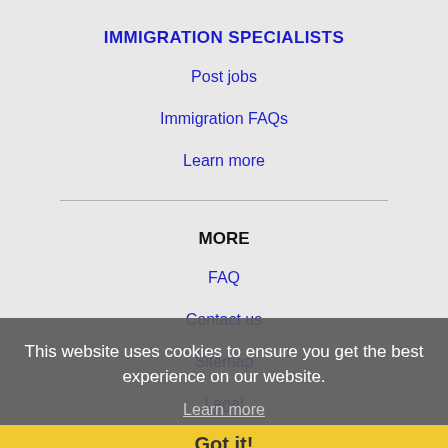IMMIGRATION SPECIALISTS
Post jobs
Immigration FAQs
Learn more
MORE
FAQ
Contact us
Sitemap
Legal
Privacy
This website uses cookies to ensure you get the best experience on our website.
Learn more
NEARBY CITIES
Got it!
Birmingham, AL Jobs
Columbus, GA Jobs
Dothan, AL Jobs